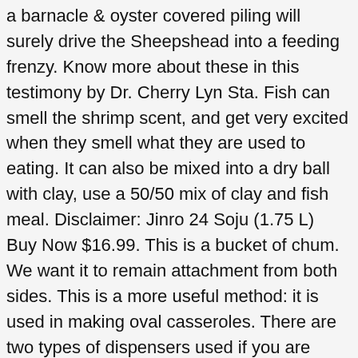a barnacle & oyster covered piling will surely drive the Sheepshead into a feeding frenzy. Know more about these in this testimony by Dr. Cherry Lyn Sta. Fish can smell the shrimp scent, and get very excited when they smell what they are used to eating. It can also be mixed into a dry ball with clay, use a 50/50 mix of clay and fish meal. Disclaimer: Jinro 24 Soju (1.75 L) Buy Now $16.99. This is a bucket of chum. We want it to remain attachment from both sides. This is a more useful method: it is used in making oval casseroles. There are two types of dispensers used if you are dispensing straight oil?a bag drip unit or a PVC drip dispenser. Some people will make 50 gallon barrels full of this stuff. But it's mainly made up of fructose, or broken-down sugar, which provides sperm with the energy needed to travel upstream. Oats are used as binders for making chum. When chumming, you want to make sure that you get it to the depth where the fish are. Also, fum is chum. Check out my photo documentary of How to Fillet a 200 lb Shark. Oysters make a good base for your chum mixture. The 'old timers' just squeeze the clam's juice into the water to create a clam chum slick